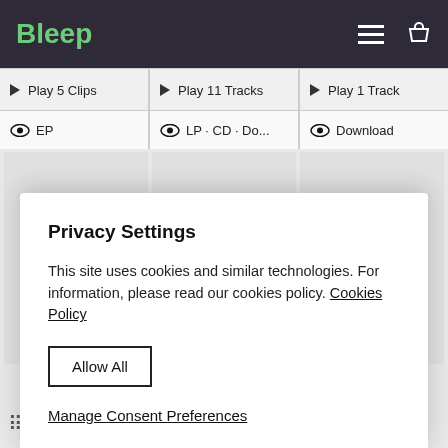Bleep
Play 5 Clips
Play 11 Tracks
Play 1 Track
EP
LP · CD · Do...
Download
[Figure (illustration): Three album art placeholder grey squares]
Privacy Settings
This site uses cookies and similar technologies. For information, please read our cookies policy. Cookies Policy
Allow All
Manage Consent Preferences